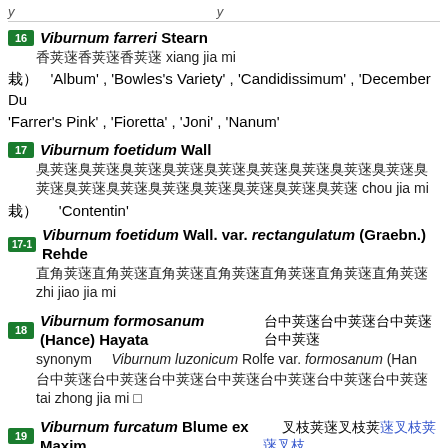y ... y
16 Viburnum farreri Stearn  香荚蒾 xiang jia mi  栽) 'Album', 'Bowles's Variety', 'Candidissimum', 'December Dust', 'Farrer's Pink', 'Fioretta', 'Joni', 'Nanum'
17 Viburnum foetidum Wall  臭荚蒾臭荚蒾臭荚蒾臭荚蒾臭荚蒾臭荚蒾臭荚蒾臭荚蒾 chou jia mi  栽) 'Contentin'
17-1 Viburnum foetidum Wall. var. rectangulatum (Graebn.) Rehde  直角荚蒾 zhi jiao jia mi
18 Viburnum formosanum (Hance) Hayata  台中荚蒾  synonym Viburnum luzonicum Rolfe var. formosanum (Hance)  台中荚蒾 tai zhong jia mi □
19 Viburnum furcatum Blume ex Maxim.  叉枝荚蒾  栽) 'Pink Parasol'
20 Viburnum grandiflorum Wall. ex DC.